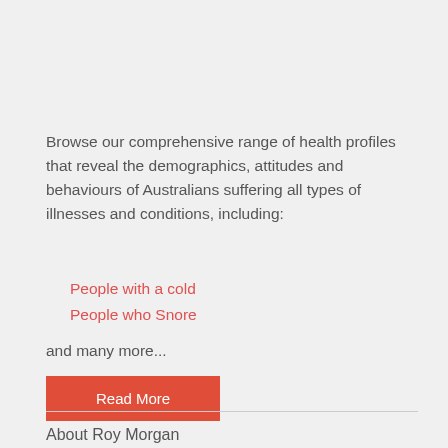Browse our comprehensive range of health profiles that reveal the demographics, attitudes and behaviours of Australians suffering all types of illnesses and conditions, including:
People with a cold
People who Snore
and many more...
Read More
About Roy Morgan